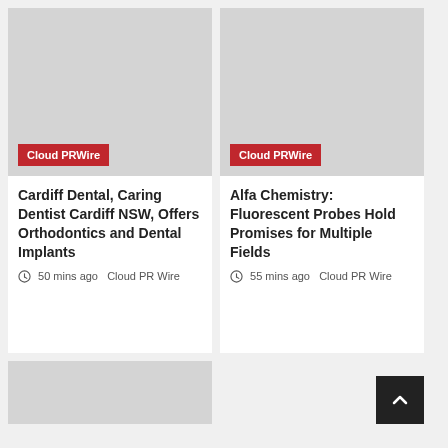[Figure (photo): Grey placeholder image with Cloud PRWire red badge]
Cardiff Dental, Caring Dentist Cardiff NSW, Offers Orthodontics and Dental Implants
50 mins ago  Cloud PR Wire
[Figure (photo): Grey placeholder image with Cloud PRWire red badge]
Alfa Chemistry: Fluorescent Probes Hold Promises for Multiple Fields
55 mins ago  Cloud PR Wire
[Figure (photo): Grey placeholder image partial bottom left]
[Figure (other): Scroll to top dark button bottom right]